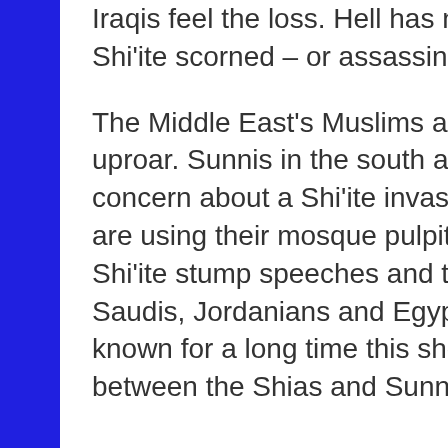Iraqis feel the loss. Hell has no fury like a Shi'ite scorned – or assassinated.
The Middle East's Muslims are in a major uproar. Sunnis in the south are expressing concern about a Shi'ite invasion and some are using their mosque pulpits for anti-Shi'ite stump speeches and to calm fears. Saudis, Jordanians and Egyptians have known for a long time this showdown between the Shias and Sunnis is